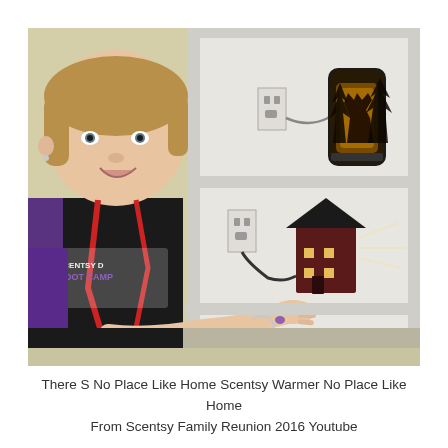[Figure (photo): A woman wearing a black 'Scentsy Director Boot Camp' t-shirt with a red lanyard and purple backpack, pointing to shelves in a white bookcase displaying two Scentsy warmers: one cylindrical with a deer silhouette design on the upper shelf, and one shaped like a small house on the lower shelf.]
There S No Place Like Home Scentsy Warmer No Place Like Home From Scentsy Family Reunion 2016 Youtube